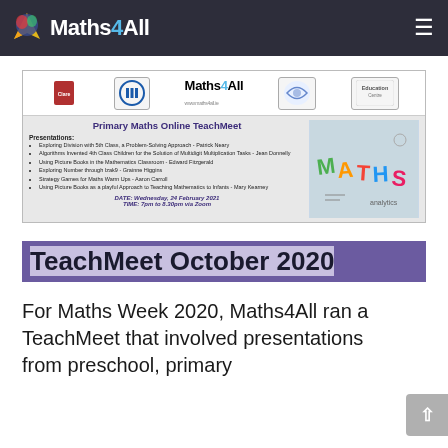Maths4All
[Figure (infographic): Primary Maths Online TeachMeet event banner showing logos of Clare, ITT, Maths4All, and Education Centre at top. Main section lists presentations including: Exploring Division with 5th Class, a Problem-Solving Approach - Patrick Neary; Algorithms Invented 4th Class Children for the Solution of Multidigit Multiplication Tasks - Jean Donnelly; Using Picture Books in the Mathematics Classroom - Edward Fitzgerald; Exploring Number through Izak9 - Grainne Higgins; Strategy Games for Maths Warm Ups - Aaron Carroll; Using Picture Books as a playful Approach to Teaching Mathematics to Infants - Mary Kearney. DATE: Wednesday, 24 February 2021. TIME: 7pm to 8.30pm via Zoom. Right side has colorful MATHS letters image.]
TeachMeet October 2020
For Maths Week 2020, Maths4All ran a TeachMeet that involved presentations from preschool, primary